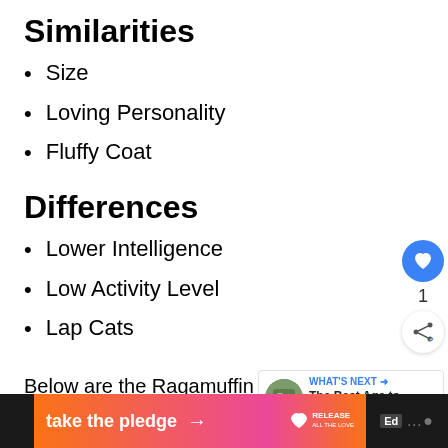Similarities
Size
Loving Personality
Fluffy Coat
Differences
Lower Intelligence
Low Activity Level
Lap Cats
Below are the Ragamuffin and Maine Coon ca…